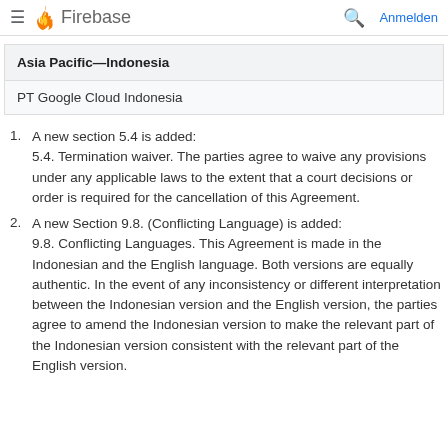Firebase  Anmelden
| Asia Pacific—Indonesia |
| --- |
| PT Google Cloud Indonesia |
A new section 5.4 is added: 5.4. Termination waiver. The parties agree to waive any provisions under any applicable laws to the extent that a court decisions or order is required for the cancellation of this Agreement.
A new Section 9.8. (Conflicting Language) is added: 9.8. Conflicting Languages. This Agreement is made in the Indonesian and the English language. Both versions are equally authentic. In the event of any inconsistency or different interpretation between the Indonesian version and the English version, the parties agree to amend the Indonesian version to make the relevant part of the Indonesian version consistent with the relevant part of the English version.